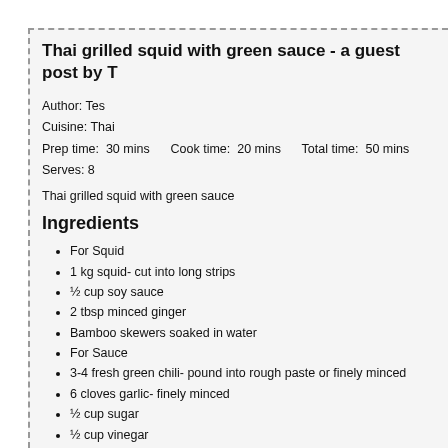Thai grilled squid with green sauce - a guest post by T
Author: Tes
Cuisine: Thai
Prep time: 30 mins    Cook time: 20 mins    Total time: 50 mins
Serves: 8
Thai grilled squid with green sauce
Ingredients
For Squid
1 kg squid- cut into long strips
½ cup soy sauce
2 tbsp minced ginger
Bamboo skewers soaked in water
For Sauce
3-4 fresh green chili- pound into rough paste or finely minced
6 cloves garlic- finely minced
½ cup sugar
½ cup vinegar
¼ cup water
1 lime juiced
2 tsp salt
2 tbsp fish sauce
A handful coriander finely chopped